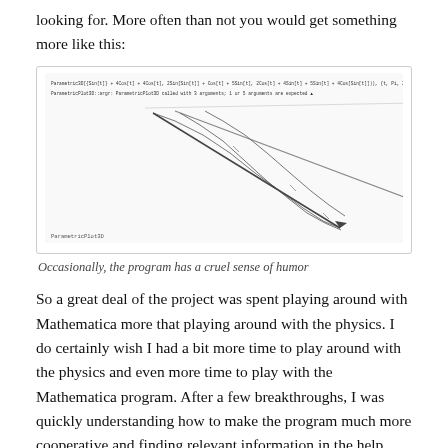looking for. More often than not you would get something more like this:
[Figure (screenshot): A Mathematica notebook screenshot showing a Parametric3D function call with trigonometric arguments and a 3D plot output that appears as a diagonal line/curve descending from upper left to lower right, with 'ParametricPlot3D' label at the bottom left.]
Occasionally, the program has a cruel sense of humor
So a great deal of the project was spent playing around with Mathematica more that playing around with the physics. I do certainly wish I had a bit more time to play around with the physics and even more time to play with the Mathematica program. After a few breakthroughs, I was quickly understanding how to make the program much more cooperative and finding relevant information in the help menus faster. With a little more time, I fixed and accounted for a few of the issues that had been plaguing my models.